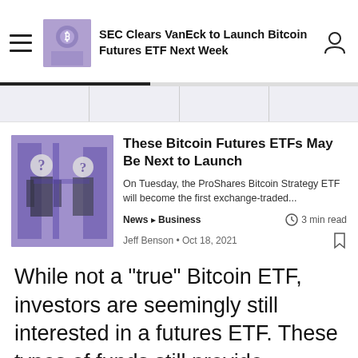SEC Clears VanEck to Launch Bitcoin Futures ETF Next Week
These Bitcoin Futures ETFs May Be Next to Launch
On Tuesday, the ProShares Bitcoin Strategy ETF will become the first exchange-traded...
News ▸ Business   3 min read
Jeff Benson • Oct 18, 2021
While not a "true" Bitcoin ETF, investors are seemingly still interested in a futures ETF. These types of funds still provide investors with exposure to cryptocurrency without having to buy, sell and store it themselves—which can be tricky for those